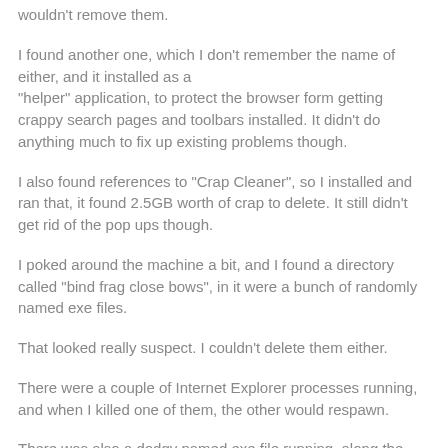wouldn't remove them.
I found another one, which I don't remember the name of either, and it installed as a "helper" application, to protect the browser form getting crappy search pages and toolbars installed. It didn't do anything much to fix up existing problems though.
I also found references to "Crap Cleaner", so I installed and ran that, it found 2.5GB worth of crap to delete. It still didn't get rid of the pop ups though.
I poked around the machine a bit, and I found a directory called "bind frag close bows", in it were a bunch of randomly named exe files.
That looked really suspect. I couldn't delete them either.
There were a couple of Internet Explorer processes running, and when I killed one of them, the other would respawn.
There was also a dodgy named exe file running, along the